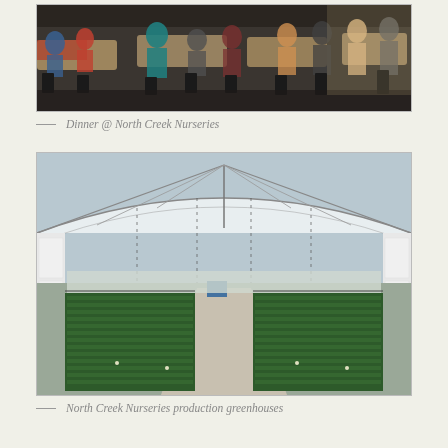[Figure (photo): People seated at tables having dinner in an outdoor/semi-open pavilion setting at North Creek Nurseries]
— Dinner @ North Creek Nurseries
[Figure (photo): Interior of a large greenhouse production facility with rows of small green plants growing under a steel and glass/plastic roof structure]
— North Creek Nurseries production greenhouses